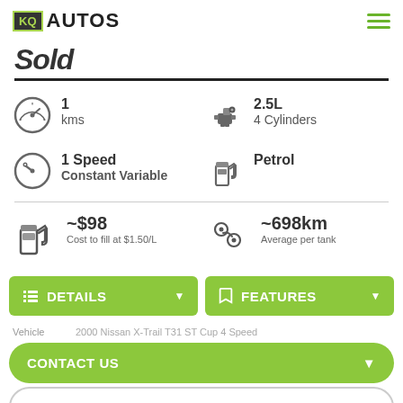KQ AUTOS
Sold
1 kms
2.5L 4 Cylinders
1 Speed Constant Variable
Petrol
~$98 Cost to fill at $1.50/L
~698km Average per tank
DETAILS
FEATURES
Vehicle 2000 Nissan X-Trail T31 ST Cup 4 Speed
CONTACT US
FINANCE THIS VEHICLE